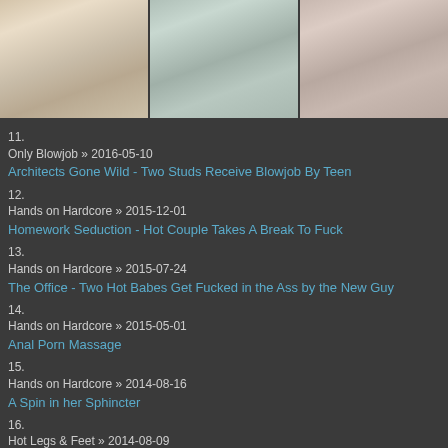[Figure (photo): Three side-by-side photos showing young women in casual/intimate settings]
11.
Only Blowjob » 2016-05-10
Architects Gone Wild - Two Studs Receive Blowjob By Teen
12.
Hands on Hardcore » 2015-12-01
Homework Seduction - Hot Couple Takes A Break To Fuck
13.
Hands on Hardcore » 2015-07-24
The Office - Two Hot Babes Get Fucked in the Ass by the New Guy
14.
Hands on Hardcore » 2015-05-01
Anal Porn Massage
15.
Hands on Hardcore » 2014-08-16
A Spin in her Sphincter
16.
Hot Legs & Feet » 2014-08-09
Indulging his Ache
17.
Euro Girls on Girls » 2015-12-20